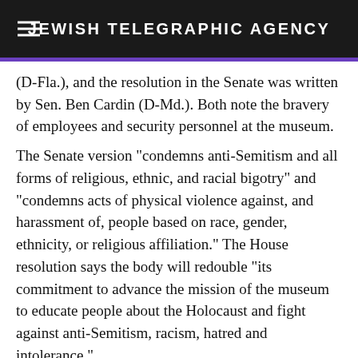JEWISH TELEGRAPHIC AGENCY
(D-Fla.), and the resolution in the Senate was written by Sen. Ben Cardin (D-Md.). Both note the bravery of employees and security personnel at the museum.
The Senate version "condemns anti-Semitism and all forms of religious, ethnic, and racial bigotry" and "condemns acts of physical violence against, and harassment of, people based on race, gender, ethnicity, or religious affiliation." The House resolution says the body will redouble "its commitment to advance the mission of the museum to educate people about the Holocaust and fight against anti-Semitism, racism, hatred and intolerance."
Von Brunn has record of criminal and white supremacist activity. On his Web site and in a book, "Kill The Best Gentiles," Von Brunn claims to expose "a Jewish conspiracy to destroy the white gene pool." He served six years in jail for